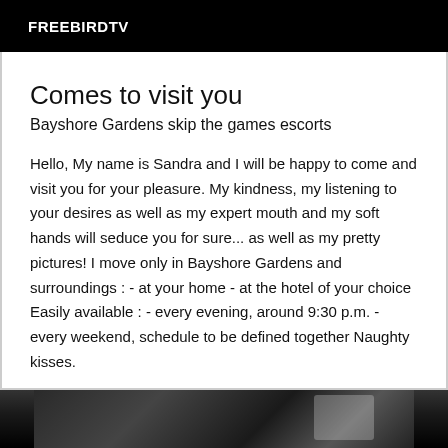FREEBIRDTV
Comes to visit you
Bayshore Gardens skip the games escorts
Hello, My name is Sandra and I will be happy to come and visit you for your pleasure. My kindness, my listening to your desires as well as my expert mouth and my soft hands will seduce you for sure... as well as my pretty pictures! I move only in Bayshore Gardens and surroundings : - at your home - at the hotel of your choice Easily available : - every evening, around 9:30 p.m. - every weekend, schedule to be defined together Naughty kisses.
[Figure (photo): Black and white photograph at bottom of page]